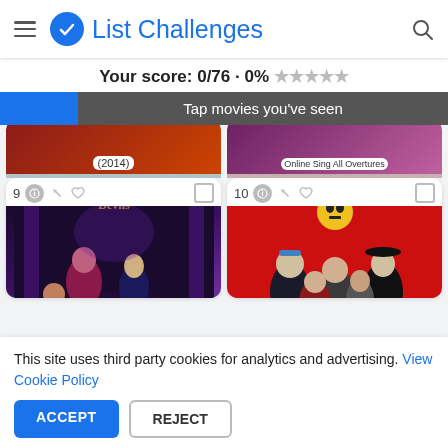List Challenges
Your score: 0/76 · 0% ★★★★★
Tap movies you've seen
[Figure (screenshot): Partially visible anime movie cards from a list challenge app, showing items numbered before 9 including one captioned '(2014)' and one captioned 'Online Sing All Overtures']
[Figure (screenshot): Card #9 showing 'Dance with Devils' anime artwork with dark purple theatre background and anime characters]
[Figure (screenshot): Card #10 showing 'Soul Eater' anime artwork with red background and anime characters]
This site uses third party cookies for analytics and advertising. View Cookie Policy
ACCEPT
REJECT